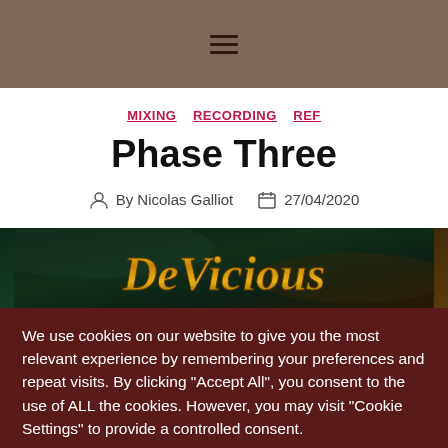≡ (hamburger menu)
MIXING  RECORDING  REF
Phase Three
By Nicolas Galliot  27/04/2020
[Figure (photo): Article header image showing a dark smoky background with gold stylized text logo]
We use cookies on our website to give you the most relevant experience by remembering your preferences and repeat visits. By clicking "Accept All", you consent to the use of ALL the cookies. However, you may visit "Cookie Settings" to provide a controlled consent.